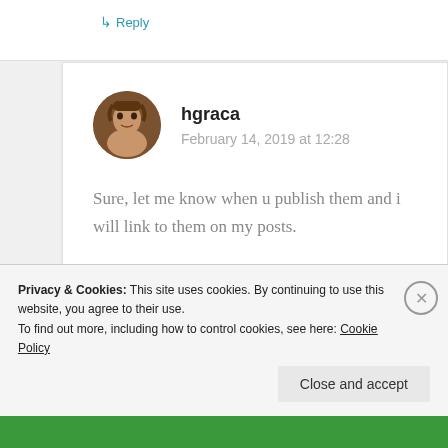↳ Reply
hgraca
February 14, 2019 at 12:28
Sure, let me know when u publish them and i will link to them on my posts.
Privacy & Cookies: This site uses cookies. By continuing to use this website, you agree to their use.
To find out more, including how to control cookies, see here: Cookie Policy
Close and accept